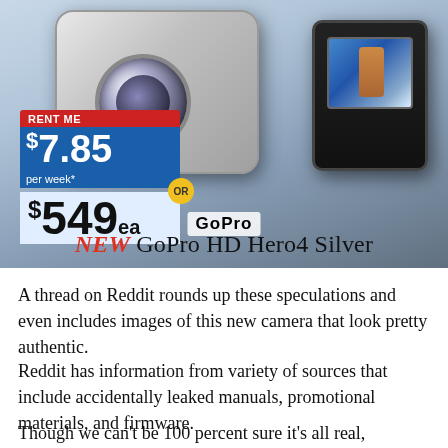[Figure (photo): Retail advertisement image showing a GoPro HD Hero4 Silver action camera in a waterproof case, with a price tag showing $7.85/week or $549ea, and a camera display unit showing a surfer. Product title reads 'NEW GoPro HD Hero4 Silver'.]
A thread on Reddit rounds up these speculations and even includes images of this new camera that look pretty authentic.
Reddit has information from variety of sources that include accidentally leaked manuals, promotional materials, and firmware.
Though we can't be 100 percent sure it's all real,